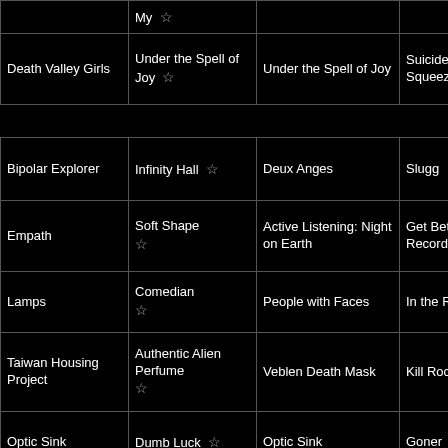| Artist | Album | Song | Label | Year |  | Time |
| --- | --- | --- | --- | --- | --- | --- |
|  | My ☆ |  |  |  |  | (Pop-u |
| Death Valley Girls | Under the Spell of Joy ☆ | Under the Spell of Joy | Suicide Squeeze | 2020 |  | 1:58:4 (Pop-u |
|  |  |  |  |  |  |  |
| Bipolar Explorer | Infinity Hall ☆ | Deux Anges | Slugg | 2021 | * | 2:08:5 (Pop-u |
| Empath | Soft Shape ☆ | Active Listening: Night on Earth | Get Better Records | 2019 |  | 2:17:2 (Pop-u |
| Lamps | Comedian ☆ | People with Faces | In the Red | 2021 | * | 2:21:2 (Pop-u |
| Taiwan Housing Project | Authentic Alien Perfume ☆ | Veblen Death Mask | Kill Rock Stars | 2017 |  | 2:23:2 (Pop-u |
| Optic Sink | Dumb Luck ☆ | Optic Sink | Goner | 2020 | * | 2:26:4 (Pop-u |
|  |  |  |  |  |  |  |
| Psychedelic Source Super | Sky Jam II ☆ | Finalizing 2020 Compilation | Psychedelic Source Records | 2020 | * | 2:36:4 (Pop-u |